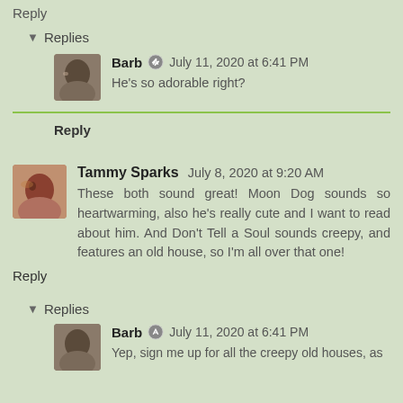Reply
▾ Replies
Barb 🖊 July 11, 2020 at 6:41 PM
He's so adorable right?
Reply
Tammy Sparks  July 8, 2020 at 9:20 AM
These both sound great! Moon Dog sounds so heartwarming, also he's really cute and I want to read about him. And Don't Tell a Soul sounds creepy, and features an old house, so I'm all over that one!
Reply
▾ Replies
Barb 🖊 July 11, 2020 at 6:41 PM
Yep, sign me up for all the creepy old houses, as